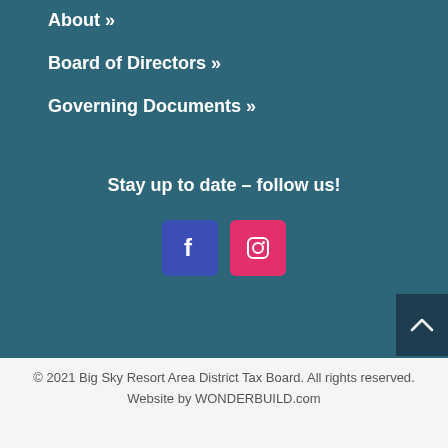About »
Board of Directors »
Governing Documents »
Stay up to date – follow us!
[Figure (illustration): Facebook and Instagram social media icon buttons]
© 2021 Big Sky Resort Area District Tax Board. All rights reserved. Website by WONDERBUILD.com